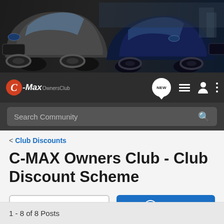[Figure (photo): Hero banner with two Ford C-MAX cars — dark grey on left, navy blue on right — against an urban background]
[Figure (logo): C-Max OwnersClub logo with red C circle and white/grey text, plus navigation icons (NEW bubble, list icon, person icon, dots icon) on dark bar]
Search Community
< Club Discounts
C-MAX Owners Club - Club Discount Scheme
→ Jump to Latest
+ Follow
1 - 8 of 8 Posts